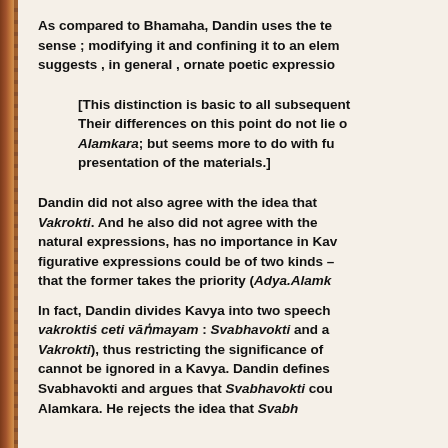As compared to Bhamaha, Dandin uses the term in a wider sense ; modifying it and confining it to an element, and suggests , in general , ornate poetic expression.
[This distinction is basic to all subsequent Their differences on this point do not lie c Alamkara; but seems more to do with fu presentation of the materials.]
Dandin did not also agree with the idea that Vakrokti. And he also did not agree with the natural expressions, has no importance in Kav figurative expressions could be of two kinds – that the former takes the priority (Adya.Alamk
In fact, Dandin divides Kavya into two speech vakroktiś ceti vāṅmayam) : Svabhavokti and a Vakrokti), thus restricting the significance of cannot be ignored in a Kavya. Dandin defines Svabhavokti and argues that Svabhavokti cou Alamkara. He rejects the idea that Svabh